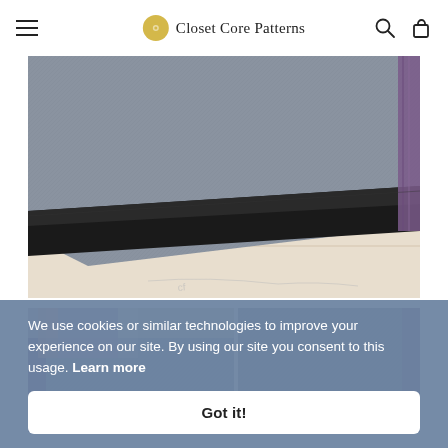Closet Core Patterns
[Figure (photo): Close-up photo of denim fabric folded with a black elastic waistband along the bottom edge, with purple serged seam visible on the right, laid on a light wooden surface.]
[Figure (photo): Second close-up photo showing two pieces of denim fabric with purple serged edges visible.]
We use cookies or similar technologies to improve your experience on our site. By using our site you consent to this usage. Learn more
Got it!